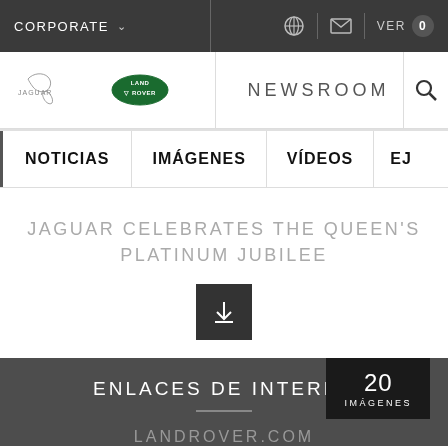CORPORATE   VER 0
[Figure (logo): Jaguar and Land Rover logos with NEWSROOM text and search icon]
NOTICIAS | IMÁGENES | VÍDEOS | EJE
JAGUAR CELEBRATES THE QUEEN'S PLATINUM JUBILEE
[Figure (illustration): Download button with arrow icon]
20 IMÁGENES
ENLACES DE INTERÉS
LANDROVER.COM